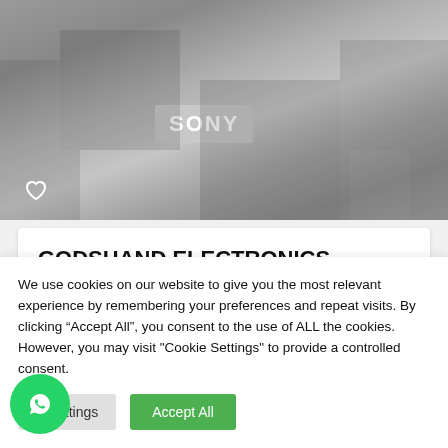[Figure (photo): Photo of an electronics store interior showing Sony display and various electronics]
GODSHAND ELECTRONICS NIGERIA
Electronics & Electrical Appliances
22 Douglas Road, Owerri, Owerri
080 3876 0904.
We use cookies on our website to give you the most relevant experience by remembering your preferences and repeat visits. By clicking “Accept All”, you consent to the use of ALL the cookies. However, you may visit "Cookie Settings" to provide a controlled consent.